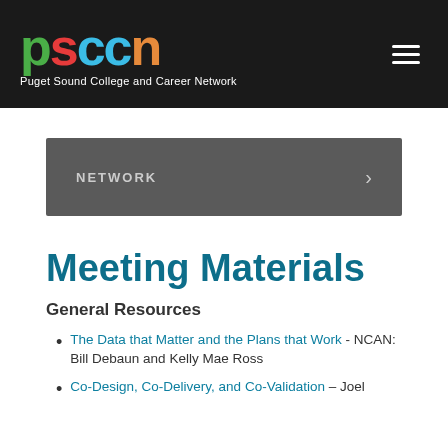psccn — Puget Sound College and Career Network
NETWORK
Meeting Materials
General Resources
The Data that Matter and the Plans that Work - NCAN: Bill Debaun and Kelly Mae Ross
Co-Design, Co-Delivery, and Co-Validation – Joel